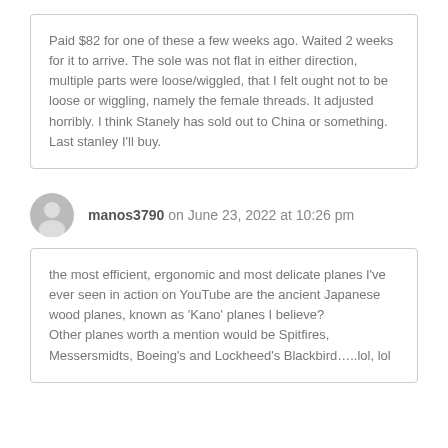Paid $82 for one of these a few weeks ago. Waited 2 weeks for it to arrive. The sole was not flat in either direction, multiple parts were loose/wiggled, that I felt ought not to be loose or wiggling, namely the female threads. It adjusted horribly. I think Stanely has sold out to China or something. Last stanley I'll buy.
manos3790 on June 23, 2022 at 10:26 pm
the most efficient, ergonomic and most delicate planes I've ever seen in action on YouTube are the ancient Japanese wood planes, known as 'Kano' planes I believe?
Other planes worth a mention would be Spitfires, Messersmidts, Boeing's and Lockheed's Blackbird…..lol, lol